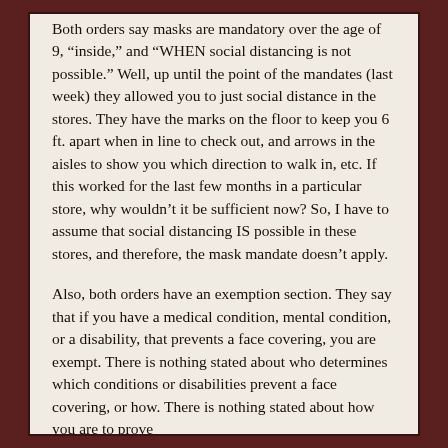Both orders say masks are mandatory over the age of 9, "inside," and "WHEN social distancing is not possible." Well, up until the point of the mandates (last week) they allowed you to just social distance in the stores. They have the marks on the floor to keep you 6 ft. apart when in line to check out, and arrows in the aisles to show you which direction to walk in, etc. If this worked for the last few months in a particular store, why wouldn't it be sufficient now? So, I have to assume that social distancing IS possible in these stores, and therefore, the mask mandate doesn't apply.
Also, both orders have an exemption section. They say that if you have a medical condition, mental condition, or a disability, that prevents a face covering, you are exempt. There is nothing stated about who determines which conditions or disabilities prevent a face covering, or how. There is nothing stated about how you are to prove